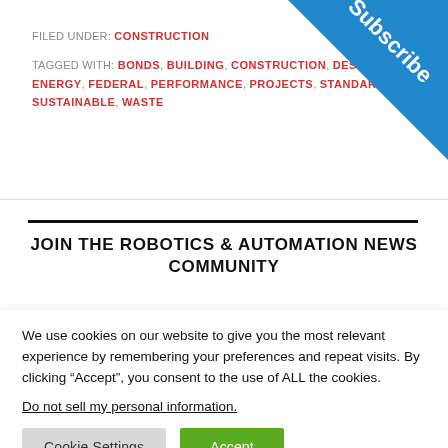FILED UNDER: CONSTRUCTION
TAGGED WITH: BONDS, BUILDING, CONSTRUCTION, DESIGN, ENERGY, FEDERAL, PERFORMANCE, PROJECTS, STANDARDS, SUSTAINABLE, WASTE
[Figure (illustration): Blue triangular Subscribe banner in top-right corner with white bold text reading 'Subscribe' rotated diagonally]
JOIN THE ROBOTICS & AUTOMATION NEWS COMMUNITY
We use cookies on our website to give you the most relevant experience by remembering your preferences and repeat visits. By clicking “Accept”, you consent to the use of ALL the cookies.
Do not sell my personal information.
Cookie Settings  Accept